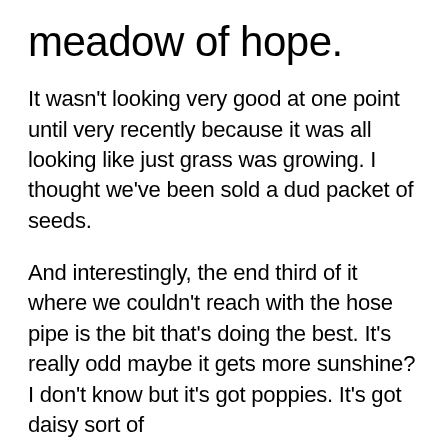meadow of hope.
It wasn't looking very good at one point until very recently because it was all looking like just grass was growing. I thought we've been sold a dud packet of seeds.
And interestingly, the end third of it where we couldn't reach with the hose pipe is the bit that's doing the best. It's really odd maybe it gets more sunshine? I don't know but it's got poppies. It's got daisy sort of